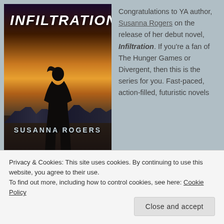[Figure (illustration): Book cover of 'Infiltration' by Susanna Rogers — dark dystopian cover showing a silhouetted figure standing on rocky ground facing a city skyline under a dramatic orange and dark sky.]
Congratulations to YA author, Susanna Rogers on the release of her debut novel, Infiltration. If you're a fan of The Hunger Games or Divergent, then this is the series for you. Fast-paced, action-filled, futuristic novels
Privacy & Cookies: This site uses cookies. By continuing to use this website, you agree to their use.
To find out more, including how to control cookies, see here: Cookie Policy
Close and accept